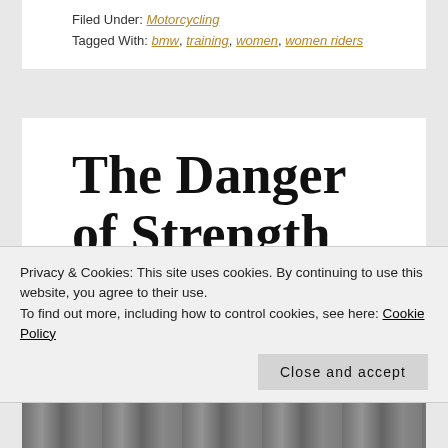Filed Under: Motorcycling
Tagged With: bmw, training, women, women riders
The Danger of Strength
MARCH 28, 2014 By VAL WESTON — 8 Comments
Privacy & Cookies: This site uses cookies. By continuing to use this website, you agree to their use.
To find out more, including how to control cookies, see here: Cookie Policy